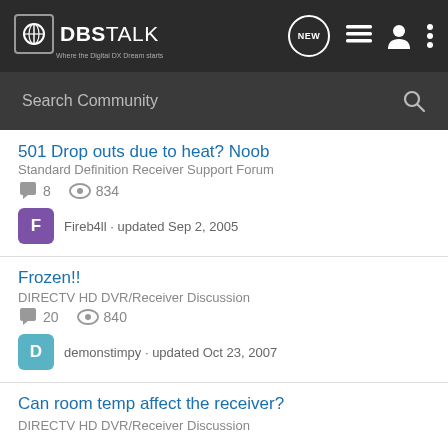DBSTALK — Where the Digital DX Dream starts
Search Community
501 Drop outs due to heat? Noob
Standard Definition Receiver Support Forum
8 replies · 834 views
Fireb4ll · updated Sep 2, 2005
Frozen!!
DIRECTV HD DVR/Receiver Discussion
20 replies · 840 views
demonstimpy · updated Oct 23, 2007
Can room temp affect the receiver?
DIRECTV HD DVR/Receiver Discussion